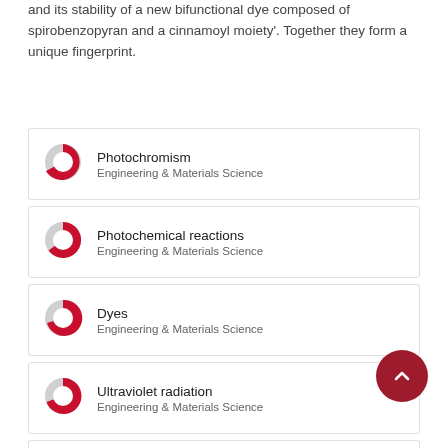and its stability of a new bifunctional dye composed of spirobenzopyran and a cinnamoyl moiety'. Together they form a unique fingerprint.
Photochromism — Engineering & Materials Science
Photochemical reactions — Engineering & Materials Science
Dyes — Engineering & Materials Science
Ultraviolet radiation — Engineering & Materials Science
Dye — Chemical Compounds
Photochemical Reaction